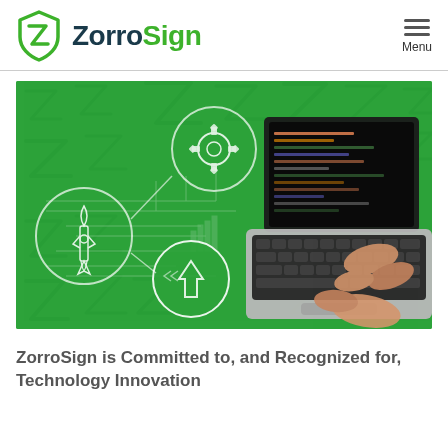ZorroSign   Menu
[Figure (illustration): ZorroSign branded hero image on green background featuring technology icons (gear, rocket, upward arrow, circles), circuit/schematic overlays, and a person typing on a laptop in the upper right corner. The background is bright green with white ZorroSign Z logo watermarks tiled throughout.]
ZorroSign is Committed to, and Recognized for, Technology Innovation